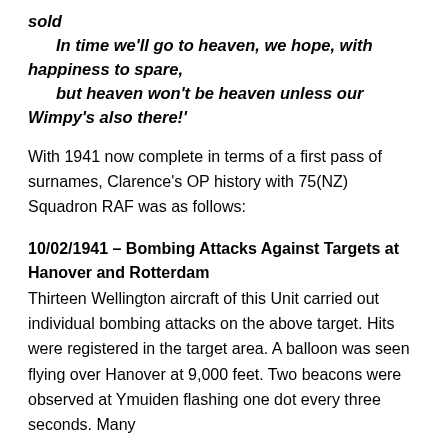sold
In time we'll go to heaven, we hope, with happiness to spare,
but heaven won't be heaven unless our Wimpy's also there!'
With 1941 now complete in terms of a first pass of surnames, Clarence's OP history with 75(NZ) Squadron RAF was as follows:
10/02/1941 – Bombing Attacks Against Targets at Hanover and Rotterdam
Thirteen Wellington aircraft of this Unit carried out individual bombing attacks on the above target. Hits were registered in the target area. A balloon was seen flying over Hanover at 9,000 feet. Two beacons were observed at Ymuiden flashing one dot every three seconds. Many